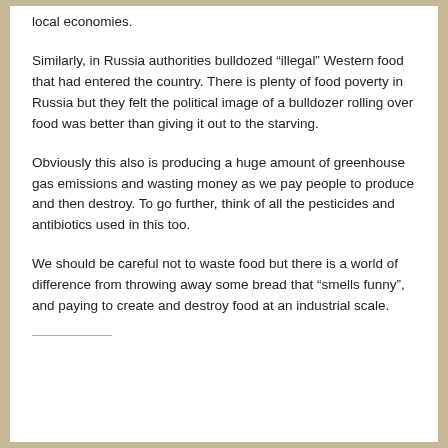local economies.
Similarly, in Russia authorities bulldozed “illegal” Western food that had entered the country. There is plenty of food poverty in Russia but they felt the political image of a bulldozer rolling over food was better than giving it out to the starving.
Obviously this also is producing a huge amount of greenhouse gas emissions and wasting money as we pay people to produce and then destroy. To go further, think of all the pesticides and antibiotics used in this too.
We should be careful not to waste food but there is a world of difference from throwing away some bread that “smells funny”, and paying to create and destroy food at an industrial scale.